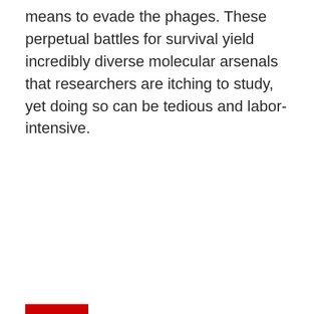means to evade the phages. These perpetual battles for survival yield incredibly diverse molecular arsenals that researchers are itching to study, yet doing so can be tedious and labor-intensive.